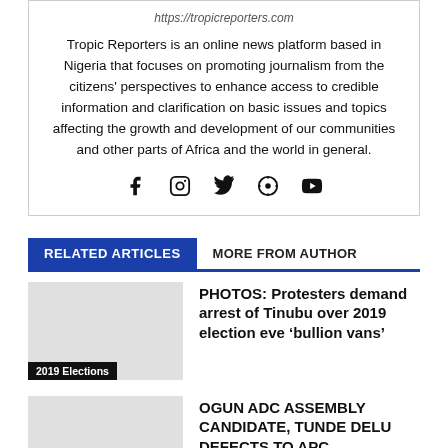https://tropicreporters.com
Tropic Reporters is an online news platform based in Nigeria that focuses on promoting journalism from the citizens' perspectives to enhance access to credible information and clarification on basic issues and topics affecting the growth and development of our communities and other parts of Africa and the world in general.
[Figure (infographic): Social media icons: Facebook, Instagram, Twitter, WordPress, YouTube]
RELATED ARTICLES
MORE FROM AUTHOR
PHOTOS: Protesters demand arrest of Tinubu over 2019 election eve ‘bullion vans’
2019 Elections
OGUN ADC ASSEMBLY CANDIDATE, TUNDE DELU DEFECTS TO APC